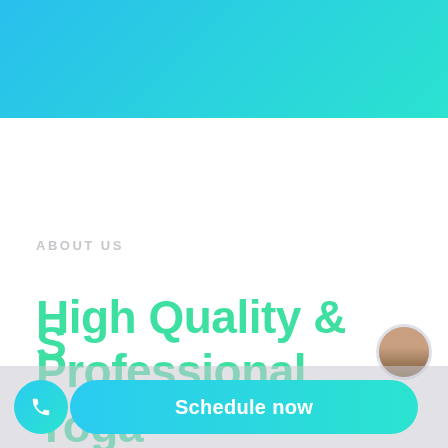[Figure (illustration): Top gradient banner with cyan-to-teal gradient (left blue #29bfed to right teal #2be3d0)]
ABOUT US
High Quality & Professional Yoga
[Figure (illustration): Bottom action bar with a circular phone icon button (cyan gradient) on the left and a 'Schedule now' pill-shaped button (cyan gradient) in the center, plus a partially visible avatar photo on the right]
Schedule now